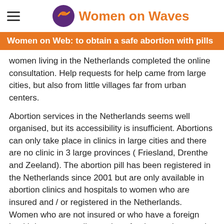Women on Waves
Women on Web: to obtain a safe abortion with pills
women living in the Netherlands completed the online consultation. Help requests for help came from large cities, but also from little villages far from urban centers.
Abortion services in the Netherlands seems well organised, but its accessibility is insufficient. Abortions can only take place in clinics in large cities and there are no clinic in 3 large provinces ( Friesland, Drenthe and Zeeland). The abortion pill has been registered in the Netherlands since 2001 but are only available in abortion clinics and hospitals to women who are insured and / or registered in the Netherlands.  Women who are not insured or who have a foreign health insurance policy such as foreign students and undocumented women, have to pay the